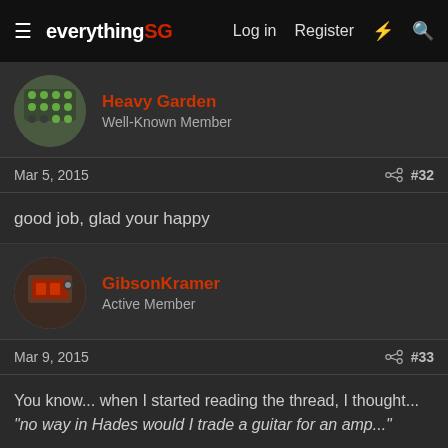everythingSG | Log in | Register
Heavy Garden
Well-Known Member
Mar 5, 2015  #32
good job, glad your happy
GibsonKramer
Active Member
Mar 9, 2015  #33
You know... when I started reading the thread, I thought... "no way in Hades would I trade a guitar for an amp..."

And I wouldn't, for a Vox... but the more I read, the more I think, for the right amp (in your case, this was it), I'd do the same.